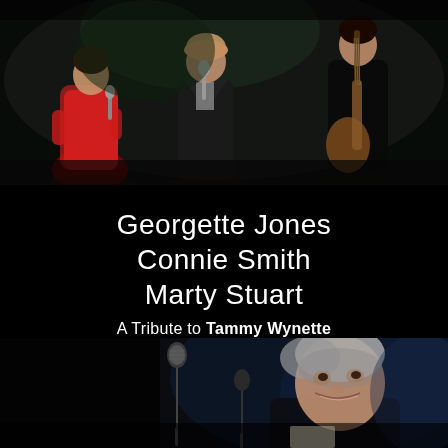[Figure (photo): Concert photo showing three performers on stage: a woman in a red dress singing into a microphone on the left, a woman in a black jacket singing in the center, and a man in black playing an acoustic guitar on the right. Dark stage background with green-tinted lighting.]
Georgette Jones
Connie Smith
Marty Stuart
A Tribute to Tammy Wynette
[Figure (photo): Close-up concert photo of a smiling man with white/gray hair performing on stage, with a microphone stand visible in the foreground and blue stage lighting in background.]